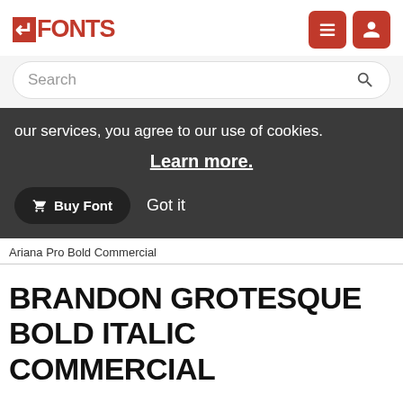FONTS
Search
our services, you agree to our use of cookies. Learn more.
Buy Font  Got it
Ariana Pro Bold Commercial
BRANDON GROTESQUE BOLD ITALIC COMMERCIAL